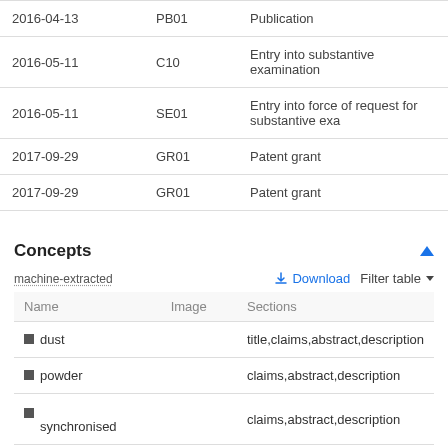| Date | Code | Description |
| --- | --- | --- |
| 2016-04-13 | PB01 | Publication |
| 2016-05-11 | C10 | Entry into substantive examination |
| 2016-05-11 | SE01 | Entry into force of request for substantive exa |
| 2017-09-29 | GR01 | Patent grant |
| 2017-09-29 | GR01 | Patent grant |
Concepts
machine-extracted
| Name | Image | Sections |
| --- | --- | --- |
| dust |  | title,claims,abstract,description |
| powder |  | claims,abstract,description |
| synchronised |  | claims,abstract,description |